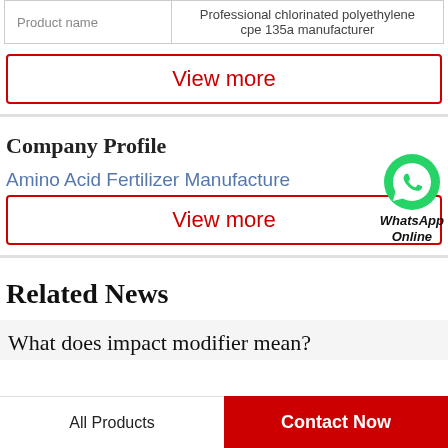| Product name |  |
| --- | --- |
| Product name | Professional chlorinated polyethylene cpe 135a manufacturer |
View more
Company Profile
Amino Acid Fertilizer Manufacture
[Figure (illustration): WhatsApp green phone icon with label 'WhatsApp Online']
View more
Related News
What does impact modifier mean?
All Products   Contact Now